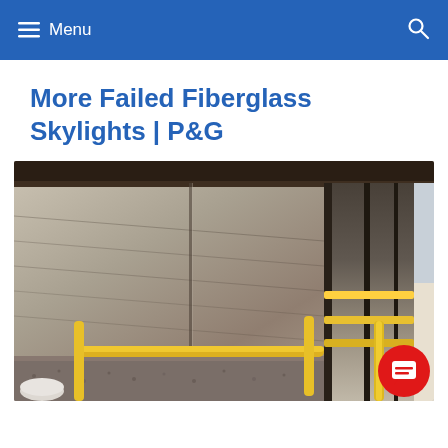Menu
More Failed Fiberglass Skylights | P&G
[Figure (photo): Deteriorated fiberglass skylight panels on a rooftop, showing heavy degradation, grime, and cracking. Yellow safety railings and white pipes visible in the foreground. Metal framing and structural elements on the right side.]